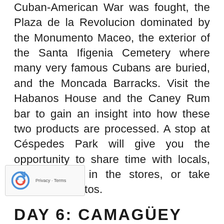Cuban-American War was fought, the Plaza de la Revolucion dominated by the Monumento Maceo, the exterior of the Santa Ifigenia Cemetery where many very famous Cubans are buried, and the Moncada Barracks. Visit the Habanos House and the Caney Rum bar to gain an insight into how these two products are processed. A stop at Céspedes Park will give you the opportunity to share time with locals, have a look in the stores, or take wonderful photos.
[Figure (logo): reCAPTCHA logo with Privacy and Terms links]
DAY 6: CAMAGÜEY